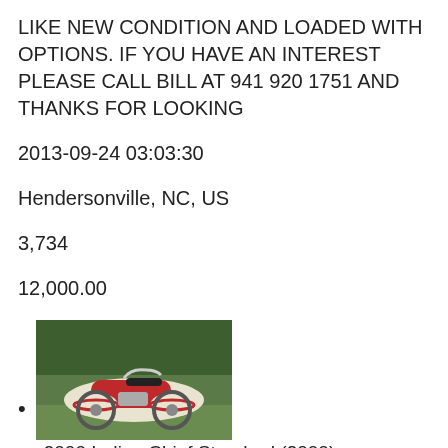LIKE NEW CONDITION AND LOADED WITH OPTIONS. IF YOU HAVE AN INTEREST PLEASE CALL BILL AT 941 920 1751 AND THANKS FOR LOOKING
2013-09-24 03:03:30
Hendersonville, NC, US
3,734
12,000.00
2000 Indian Chief Standard (2000) 2000 Indian Chief , Fully restored Indian Chief. The engine was re-built, diamond cut and only has 2000 miles on it. The bike had around 17k
[Figure (photo): Photo of a red and white 2000 Indian Chief motorcycle parked outdoors]